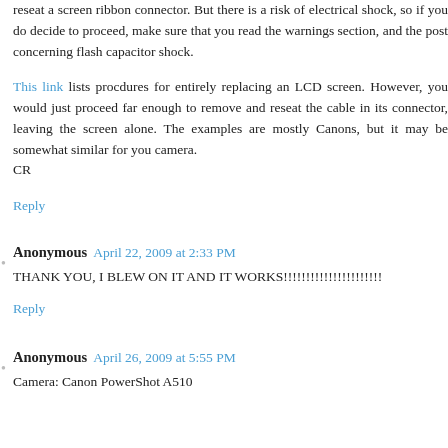reseat a screen ribbon connector. But there is a risk of electrical shock, so if you do decide to proceed, make sure that you read the warnings section, and the post concerning flash capacitor shock.
This link lists procdures for entirely replacing an LCD screen. However, you would just proceed far enough to remove and reseat the cable in its connector, leaving the screen alone. The examples are mostly Canons, but it may be somewhat similar for you camera. CR
Reply
Anonymous April 22, 2009 at 2:33 PM
THANK YOU, I BLEW ON IT AND IT WORKS!!!!!!!!!!!!!!!!!!!!!!
Reply
Anonymous April 26, 2009 at 5:55 PM
Camera: Canon PowerShot A510